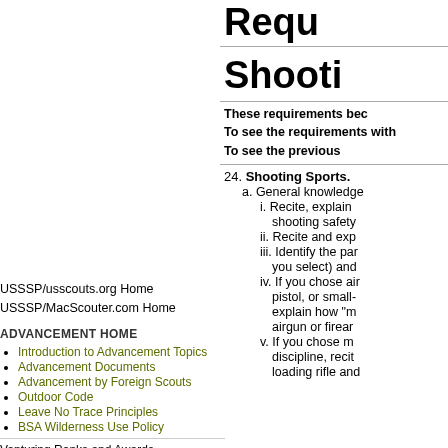Requ...
Shooti...
These requirements bec...
To see the requirements with ...
To see the previous...
USSSP/usscouts.org Home
USSSSP/MacScouter.com Home
ADVANCEMENT HOME
Introduction to Advancement Topics
Advancement Documents
Advancement by Foreign Scouts
Outdoor Code
Leave No Trace Principles
BSA Wilderness Use Policy
Venturing Ranks and Awards
Introduction to Venturing
24. Shooting Sports.
  a. General knowledge
    i. Recite, explain... shooting safety...
    ii. Recite and exp...
    iii. Identify the par... you select) and...
    iv. If you chose air... pistol, or small-... explain how "m... airgun or firear...
    v. If you chose m... discipline, recit... loading rifle and...